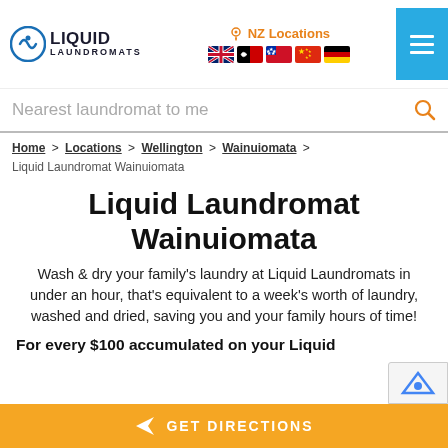Liquid Laundromats — NZ Locations header with language flags and navigation
Nearest laundromat to me
Home > Locations > Wellington > Wainuiomata > Liquid Laundromat Wainuiomata
Liquid Laundromat Wainuiomata
Wash & dry your family's laundry at Liquid Laundromats in under an hour, that's equivalent to a week's worth of laundry, washed and dried, saving you and your family hours of time!
For every $100 accumulated on your Liquid
GET DIRECTIONS